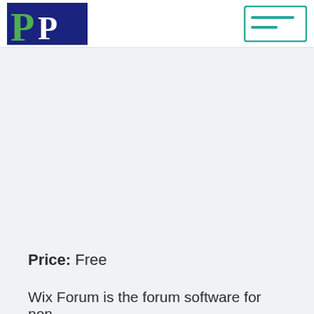[Figure (logo): Blue square logo with large green P and white P letters]
[Figure (illustration): Teal/turquoise outlined rectangle icon with menu lines (hamburger menu icon)]
Price: Free
Wix Forum is the forum software for non-